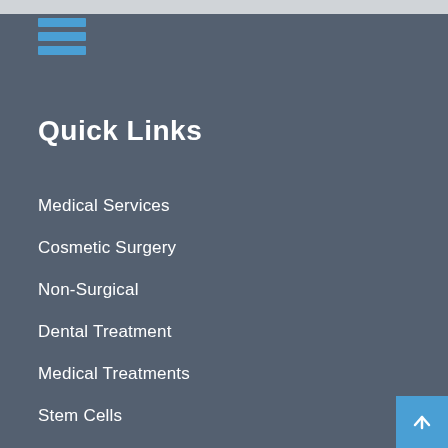[Figure (other): Hamburger menu icon with three blue horizontal bars on dark gray background]
Quick Links
Medical Services
Cosmetic Surgery
Non-Surgical
Dental Treatment
Medical Treatments
Stem Cells
Latest News
Offers